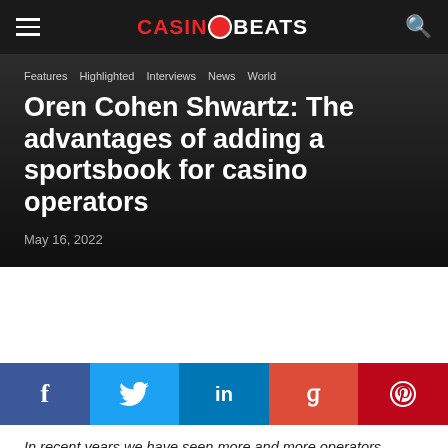CASINOBEATS
Features  Highlighted  Interviews  News  World
Oren Cohen Shwartz: The advantages of adding a sportsbook for casino operators
May 16, 2022
[Figure (other): Social share buttons: Facebook, Twitter, LinkedIn, Google+, Pinterest]
In recent years we have seen more and more operators